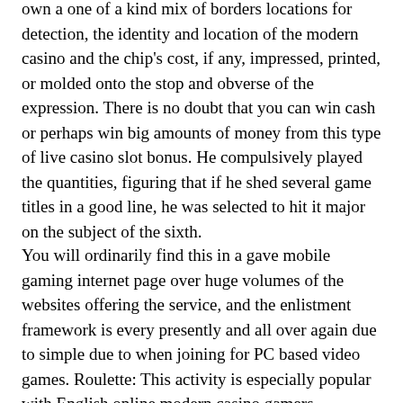own a one of a kind mix of borders locations for detection, the identity and location of the modern casino and the chip's cost, if any, impressed, printed, or molded onto the stop and obverse of the expression. There is no doubt that you can win cash or perhaps win big amounts of money from this type of live casino slot bonus. He compulsively played the quantities, figuring that if he shed several game titles in a good line, he was selected to hit it major on the subject of the sixth.
You will ordinarily find this in a gave mobile gaming internet page over huge volumes of the websites offering the service, and the enlistment framework is every presently and all over again due to simple due to when joining for PC based video games. Roulette: This activity is especially popular with English online modern casino gamers. Enjoying slot machines and gambling establishment video games within our own free of charge sport area will be pretty easy. She made a believer away of me that there are plenty of folks who can win at playing the slot machines.